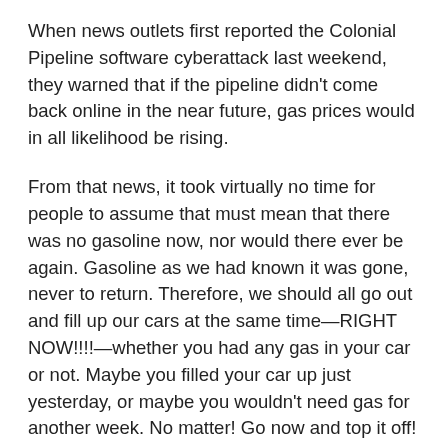When news outlets first reported the Colonial Pipeline software cyberattack last weekend, they warned that if the pipeline didn't come back online in the near future, gas prices would in all likelihood be rising.
From that news, it took virtually no time for people to assume that must mean that there was no gasoline now, nor would there ever be again. Gasoline as we had known it was gone, never to return. Therefore, we should all go out and fill up our cars at the same time—RIGHT NOW!!!!—whether you had any gas in your car or not. Maybe you filled your car up just yesterday, or maybe you wouldn't need gas for another week. No matter! Go now and top it off! Wait hours if you must, but go get gas now, now, now!!!
We thus ensured that we turned a mild inconvenience